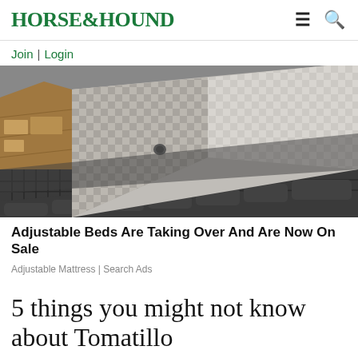HORSE&HOUND
Join | Login
[Figure (photo): Photo of a modern adjustable bed with dark grey upholstered frame, storage drawers on the side, and a two-tone mattress visible from above at an angle.]
Adjustable Beds Are Taking Over And Are Now On Sale
Adjustable Mattress | Search Ads
5 things you might not know about Tomatillo